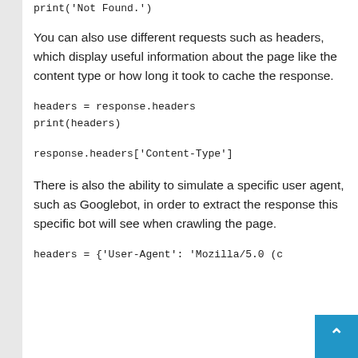print('Not Found.')
You can also use different requests such as headers, which display useful information about the page like the content type or how long it took to cache the response.
headers = response.headers
print(headers)
response.headers['Content-Type']
There is also the ability to simulate a specific user agent, such as Googlebot, in order to extract the response this specific bot will see when crawling the page.
headers = {'User-Agent': 'Mozilla/5.0 (c